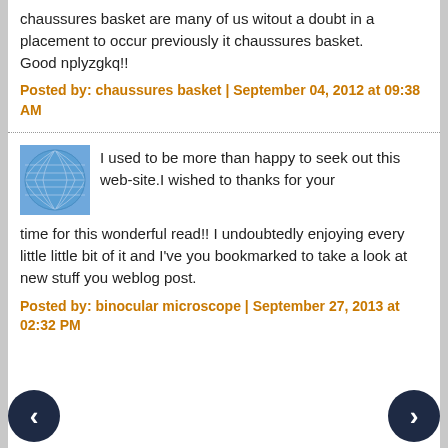chaussures basket are many of us witout a doubt in a placement to occur previously it chaussures basket.
Good nplyzgkq!!
Posted by: chaussures basket | September 04, 2012 at 09:38 AM
[Figure (illustration): Avatar icon showing a blue globe/grid pattern]
I used to be more than happy to seek out this web-site.I wished to thanks for your time for this wonderful read!! I undoubtedly enjoying every little little bit of it and I've you bookmarked to take a look at new stuff you weblog post.
Posted by: binocular microscope | September 27, 2013 at 02:32 PM